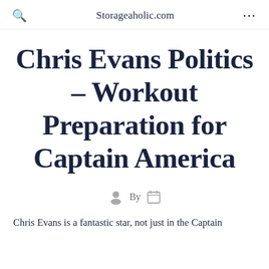Storageaholic.com
Chris Evans Politics – Workout Preparation for Captain America
By
Chris Evans is a fantastic star, not just in the Captain